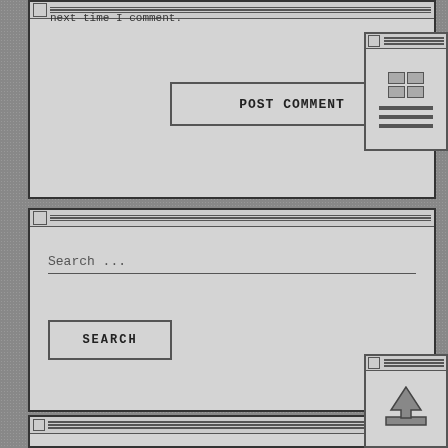next time I comment.
POST COMMENT
[Figure (screenshot): Small decorative widget with grid and lines in top-right area]
Search ...
SEARCH
Recent Posts
Charlie's 80s Attic July 4th Weekend Holiday Programming Schedule
Weekend Programming Schedule June 24-26
Behind The Scenes: 80s Deep Dive
Charlie's Attic Interview From The Summer of 1989
[Figure (screenshot): Small scroll/upload widget with arrow icon in bottom-right area]